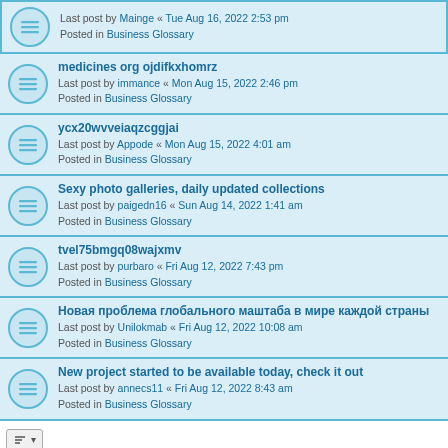Last post by Mainge « Tue Aug 16, 2022 2:53 pm
Posted in Business Glossary
medicines org ojdifkxhomrz
Last post by immance « Mon Aug 15, 2022 2:46 pm
Posted in Business Glossary
ycx20wvveiaqzcggjai
Last post by Appode « Mon Aug 15, 2022 4:01 am
Posted in Business Glossary
Sexy photo galleries, daily updated collections
Last post by paigedn16 « Sun Aug 14, 2022 1:41 am
Posted in Business Glossary
tvel75bmgq08wajxmv
Last post by purbaro « Fri Aug 12, 2022 7:43 pm
Posted in Business Glossary
Новая проблема глобального маштаба в мире каждой страны
Last post by Unilokmab « Fri Aug 12, 2022 10:08 am
Posted in Business Glossary
New project started to be available today, check it out
Last post by annecs11 « Fri Aug 12, 2022 8:43 am
Posted in Business Glossary
Search found more than 1000 matches
1 2 3 4 5 … 20